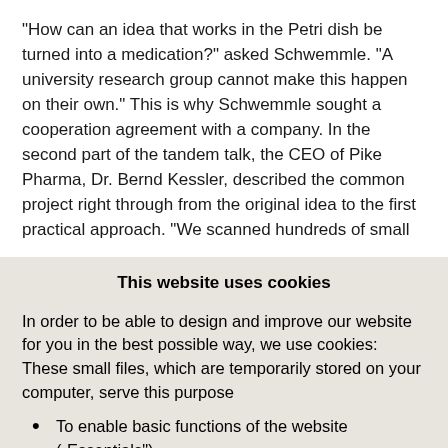“How can an idea that works in the Petri dish be turned into a medication?” asked Schwemmle. “A university research group cannot make this happen on their own.” This is why Schwemmle sought a cooperation agreement with a company. In the second part of the tandem talk, the CEO of Pike Pharma, Dr. Bernd Kessler, described the common project right through from the original idea to the first practical approach. “We scanned hundreds of small
This website uses cookies
In order to be able to design and improve our website for you in the best possible way, we use cookies: These small files, which are temporarily stored on your computer, serve this purpose
To enable basic functions of the website („Essentials“)
Make available third-party elements integrated into the website such as YouTube videos or Google Maps navigation („third-party cookies“)
To operate statistical and tracking tools to understand how site visitors use the site and to implement